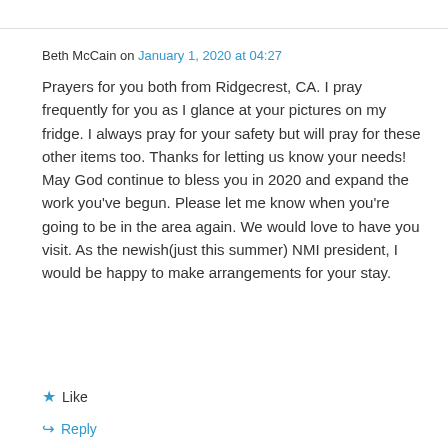Beth McCain on January 1, 2020 at 04:27
Prayers for you both from Ridgecrest, CA. I pray frequently for you as I glance at your pictures on my fridge. I always pray for your safety but will pray for these other items too. Thanks for letting us know your needs! May God continue to bless you in 2020 and expand the work you've begun. Please let me know when you're going to be in the area again. We would love to have you visit. As the newish(just this summer) NMI president, I would be happy to make arrangements for your stay.
★ Like
↩ Reply